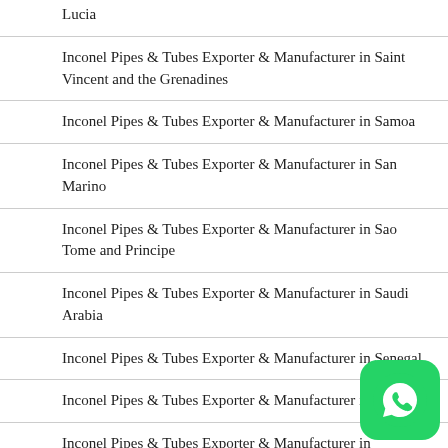Lucia
Inconel Pipes & Tubes Exporter & Manufacturer in Saint Vincent and the Grenadines
Inconel Pipes & Tubes Exporter & Manufacturer in Samoa
Inconel Pipes & Tubes Exporter & Manufacturer in San Marino
Inconel Pipes & Tubes Exporter & Manufacturer in Sao Tome and Principe
Inconel Pipes & Tubes Exporter & Manufacturer in Saudi Arabia
Inconel Pipes & Tubes Exporter & Manufacturer in Senegal
Inconel Pipes & Tubes Exporter & Manufacturer in Serb
Inconel Pipes & Tubes Exporter & Manufacturer in